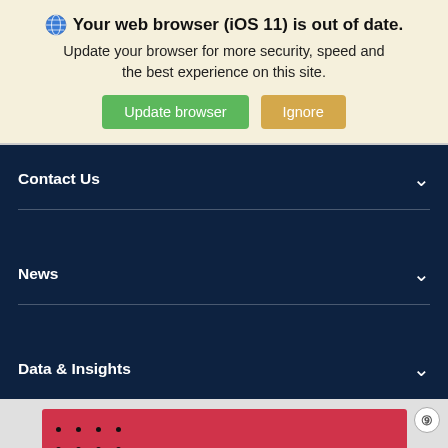🌐 Your web browser (iOS 11) is out of date. Update your browser for more security, speed and the best experience on this site.
Update browser | Ignore
Contact Us
News
Data & Insights
[Figure (infographic): Red promotional banner with dot grid pattern and text 'Shape your degree around your lifestyle']